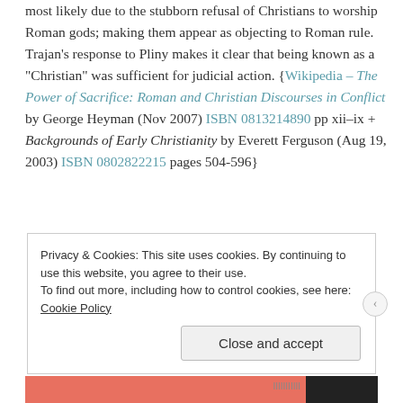most likely due to the stubborn refusal of Christians to worship Roman gods; making them appear as objecting to Roman rule. Trajan's response to Pliny makes it clear that being known as a "Christian" was sufficient for judicial action. {Wikipedia – The Power of Sacrifice: Roman and Christian Discourses in Conflict by George Heyman (Nov 2007) ISBN 0813214890 pp xii–ix + Backgrounds of Early Christianity by Everett Ferguson (Aug 19, 2003) ISBN 0802822215 pages 504-596}
Privacy & Cookies: This site uses cookies. By continuing to use this website, you agree to their use.
To find out more, including how to control cookies, see here: Cookie Policy
Close and accept